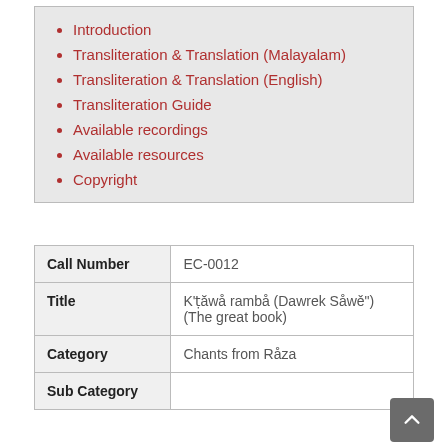Introduction
Transliteration & Translation (Malayalam)
Transliteration & Translation (English)
Transliteration Guide
Available recordings
Available resources
Copyright
| Field | Value |
| --- | --- |
| Call Number | EC-0012 |
| Title | K'ṭăwå rambå (Dawrek Såwě") (The great book) |
| Category | Chants from Råza |
| Sub Category |  |